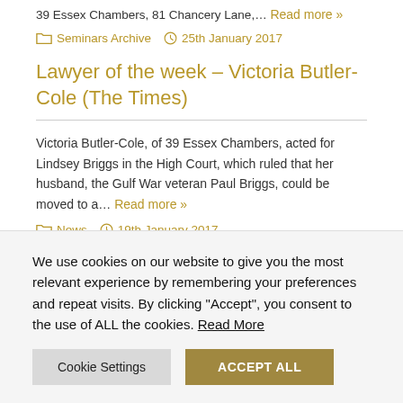39 Essex Chambers, 81 Chancery Lane,… Read more »
Seminars Archive   25th January 2017
Lawyer of the week – Victoria Butler-Cole (The Times)
Victoria Butler-Cole, of 39 Essex Chambers, acted for Lindsey Briggs in the High Court, which ruled that her husband, the Gulf War veteran Paul Briggs, could be moved to a… Read more »
News   19th January 2017
We use cookies on our website to give you the most relevant experience by remembering your preferences and repeat visits. By clicking "Accept", you consent to the use of ALL the cookies. Read More